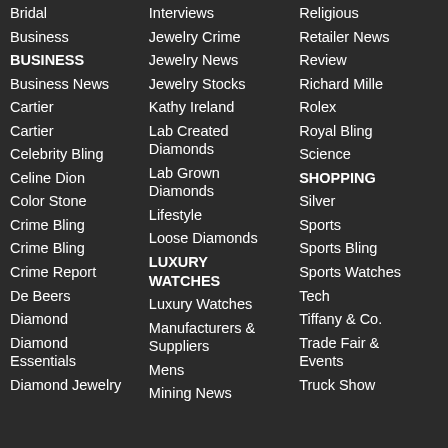Bridal
Business
BUSINESS
Business News
Cartier
Cartier
Celebrity Bling
Celine Dion
Color Stone
Crime Bling
Crime Bling
Crime Report
De Beers
Diamond
Diamond Essentials
Diamond Jewelry
Interviews
Jewelry Crime
Jewelry News
Jewelry Stocks
Kathy Ireland
Lab Created Diamonds
Lab Grown Diamonds
Lifestyle
Loose Diamonds
LUXURY WATCHES
Luxury Watches
Manufacturers & Suppliers
Mens
Mining News
Religious
Retailer News
Review
Richard Mille
Rolex
Royal Bling
Science
SHOPPING
Silver
Sports
Sports Bling
Sports Watches
Tech
Tiffany & Co.
Trade Fair & Events
Truck Show